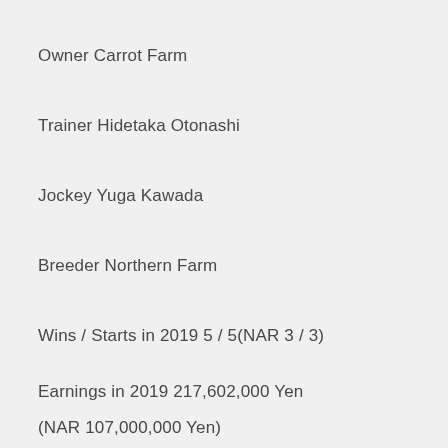Owner Carrot Farm
Trainer Hidetaka Otonashi
Jockey Yuga Kawada
Breeder Northern Farm
Wins / Starts in 2019 5 / 5(NAR 3 / 3)
Earnings in 2019 217,602,000 Yen
(NAR 107,000,000 Yen)